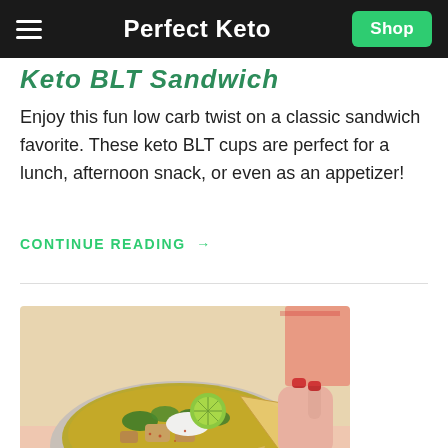Perfect Keto
Keto BLT Sandwich
Enjoy this fun low carb twist on a classic sandwich favorite. These keto BLT cups are perfect for a lunch, afternoon snack, or even as an appetizer!
CONTINUE READING →
[Figure (photo): A bowl of green chile chicken soup with lime, sour cream, herbs and tortilla chips, being held by a hand with red nail polish]